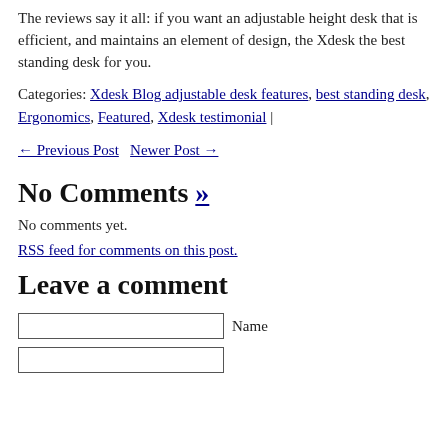The reviews say it all: if you want an adjustable height desk that is efficient, and maintains an element of design, the Xdesk the best standing desk for you.
Categories: Xdesk Blog adjustable desk features, best standing desk, Ergonomics, Featured, Xdesk testimonial |
← Previous Post   Newer Post →
No Comments »
No comments yet.
RSS feed for comments on this post.
Leave a comment
Name (input field)
(second input field)